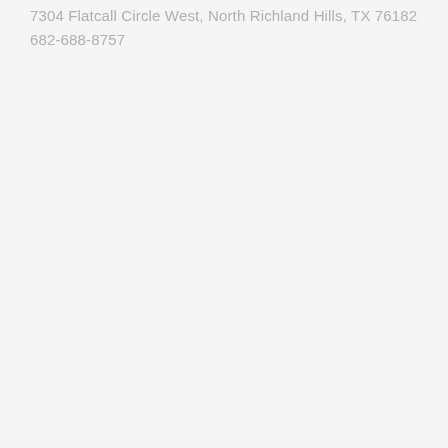7304 Flatcall Circle West, North Richland Hills, TX 76182
682-688-8757